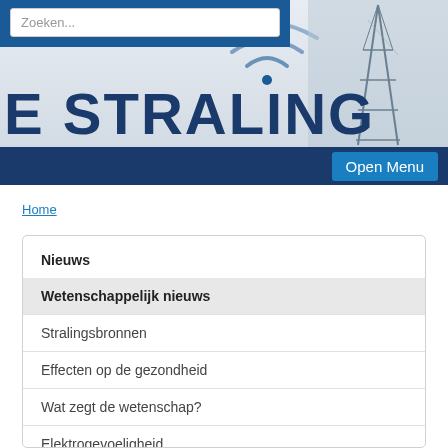[Figure (screenshot): Website banner with wifi signal icon, large bold text 'E STRALING', tower image on right, dark blue bar with 'Open Menu' button]
Home
Nieuws
Wetenschappelijk nieuws
Stralingsbronnen
Effecten op de gezondheid
Wat zegt de wetenschap?
Elektrogevoeligheid
Wetgeving en normen